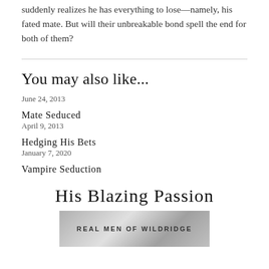suddenly realizes he has everything to lose—namely, his fated mate. But will their unbreakable bond spell the end for both of them?
You may also like...
June 24, 2013
Mate Seduced
April 9, 2013
Hedging His Bets
January 7, 2020
Vampire Seduction
His Blazing Passion
[Figure (photo): Book cover image showing 'Real Men of Wildridge' text on a grey/silver background]